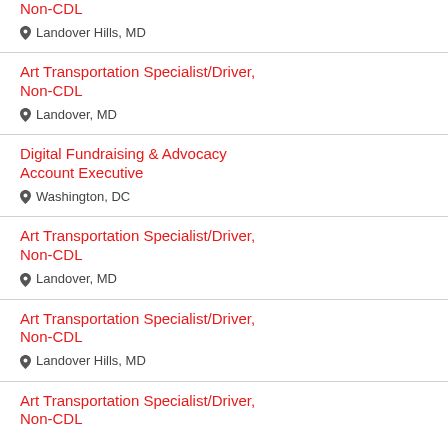Art Transportation Specialist/Driver, Non-CDL — Landover Hills, MD
Art Transportation Specialist/Driver, Non-CDL — Landover, MD
Digital Fundraising & Advocacy Account Executive — Washington, DC
Art Transportation Specialist/Driver, Non-CDL — Landover, MD
Art Transportation Specialist/Driver, Non-CDL — Landover Hills, MD
Art Transportation Specialist/Driver, Non-CDL